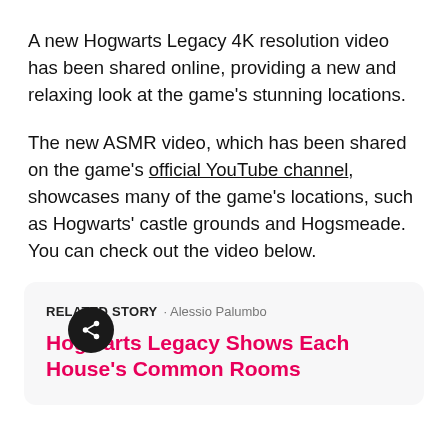A new Hogwarts Legacy 4K resolution video has been shared online, providing a new and relaxing look at the game's stunning locations.
The new ASMR video, which has been shared on the game's official YouTube channel, showcases many of the game's locations, such as Hogwarts' castle grounds and Hogsmeade. You can check out the video below.
RELATED STORY · Alessio Palumbo
Hogwarts Legacy Shows Each House's Common Rooms